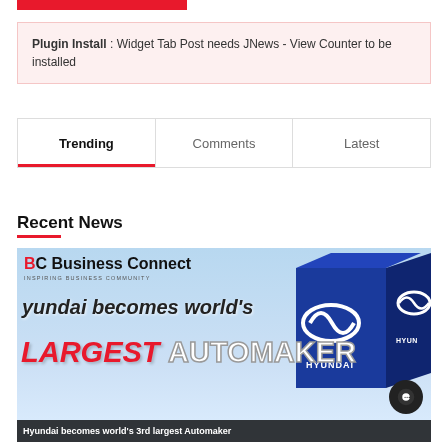[Figure (other): Red horizontal bar at top of page]
Plugin Install : Widget Tab Post needs JNews - View Counter to be installed
Trending | Comments | Latest (tab navigation)
Recent News
[Figure (photo): News article image: BC Business Connect magazine cover showing 'Hyundai becomes world's LARGEST AUTOMAKER' with Hyundai branded blue building on the right side. Bottom caption reads 'Hyundai becomes world's 3rd largest Automaker'.]